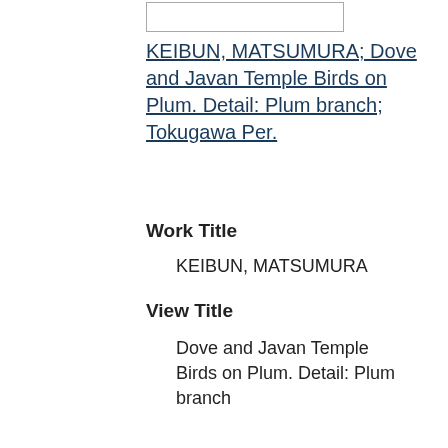[Figure (other): Small empty/blank image box at top]
KEIBUN, MATSUMURA; Dove and Javan Temple Birds on Plum. Detail: Plum branch; Tokugawa Per.
Work Title
KEIBUN, MATSUMURA
View Title
Dove and Javan Temple Birds on Plum. Detail: Plum branch
Site/Repository
New York, C.D. Carter Coll.
Period/Date
Tokugawa Per.
Legacy
Media/Technique